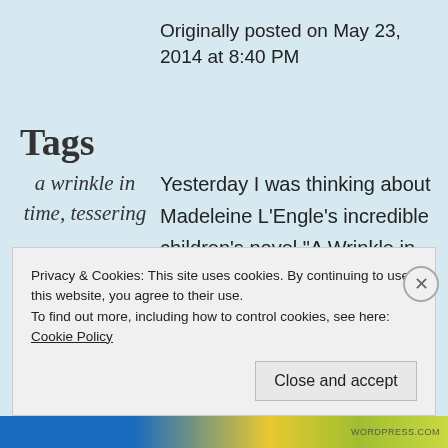Originally posted on May 23, 2014 at 8:40 PM
Tags
a wrinkle in time, tessering
Yesterday I was thinking about Madeleine L’Engle’s incredible children’s novel “A Wrinkle in Time” and how it has passed into the realm of moral and social commentary since I read it in November 1963, and as we
Privacy & Cookies: This site uses cookies. By continuing to use this website, you agree to their use.
To find out more, including how to control cookies, see here: Cookie Policy
Close and accept